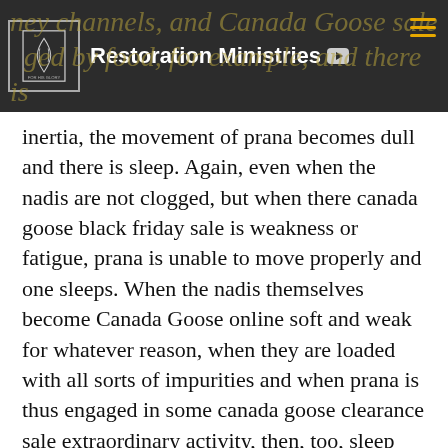Restoration Ministries
inertia, the movement of prana becomes dull and there is sleep. Again, even when the nadis are not clogged, but when there canada goose black friday sale is weakness or fatigue, prana is unable to move properly and one sleeps. When the nadis themselves become Canada Goose online soft and weak for whatever reason, when they are loaded with all sorts of impurities and when prana is thus engaged in some canada goose clearance sale extraordinary activity, then, too, sleep arises.. canada goose outlet online store
canada goose outlet montreal The trailers have